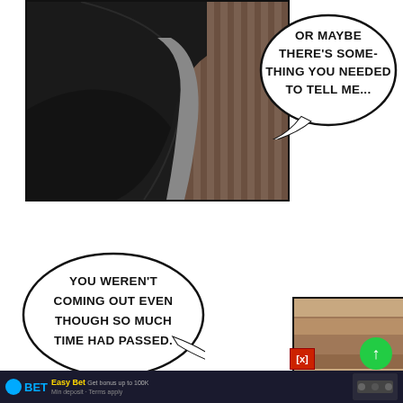[Figure (illustration): Comic panel showing a dark interior scene, close-up of a dark jacket/shoulder with brown striped background wall]
OR MAYBE THERE'S SOME-THING YOU NEEDED TO TELL ME...
YOU WEREN'T COMING OUT EVEN THOUGH SO MUCH TIME HAD PASSED.
[Figure (illustration): Bottom right comic panel showing brown/tan layered surfaces]
[Figure (other): Advertisement banner: BET logo with betting promotion text and imagery]